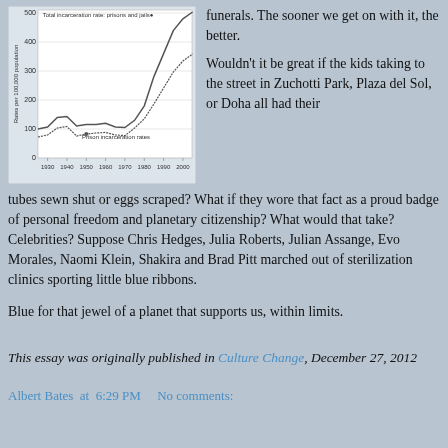[Figure (line-chart): Total incarceration rate: prisons and jails]
funerals. The sooner we get on with it, the better.
Wouldn’t it be great if the kids taking to the street in Zuchotti Park, Plaza del Sol, or Doha all had their tubes sewn shut or eggs scraped? What if they wore that fact as a proud badge of personal freedom and planetary citizenship? What would that take? Celebrities? Suppose Chris Hedges, Julia Roberts, Julian Assange, Evo Morales, Naomi Klein, Shakira and Brad Pitt marched out of sterilization clinics sporting little blue ribbons.
Blue for that jewel of a planet that supports us, within limits.
This essay was originally published in Culture Change, December 27, 2012
Albert Bates  at  6:29 PM     No comments: